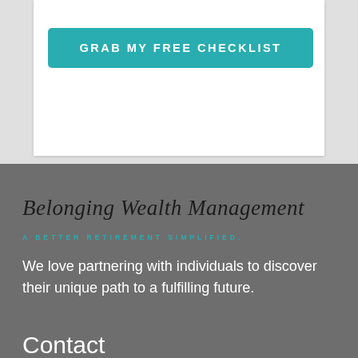[Figure (other): Teal/turquoise button labeled GRAB MY FREE CHECKLIST on a white card with gray background]
Belonging Wealth Management
A BETTER RETIREMENT SIMPLIFIED.
We love partnering with individuals to discover their unique path to a fulfilling future.
Contact